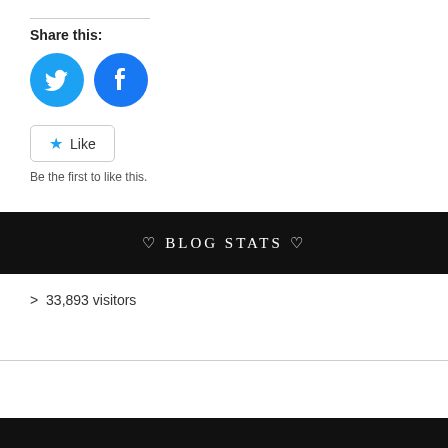Share this:
[Figure (illustration): Twitter and Facebook share buttons as circular blue icons]
[Figure (illustration): Like button with star icon, followed by text 'Be the first to like this.']
Be the first to like this.
♡ BLOG STATS ♡
> 33,893 visitors